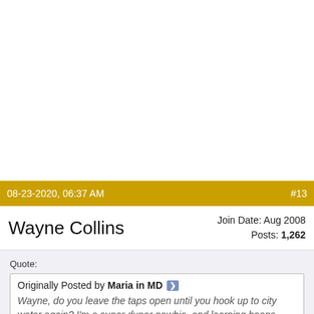08-23-2020, 06:37 AM  #13
Wayne Collins
Join Date: Aug 2008
Posts: 1,262
Quote:
Originally Posted by Maria in MD
Wayne, do you leave the taps open until you hook up to city water again? I'm a super duper newbie, and learning heaps from you folks.